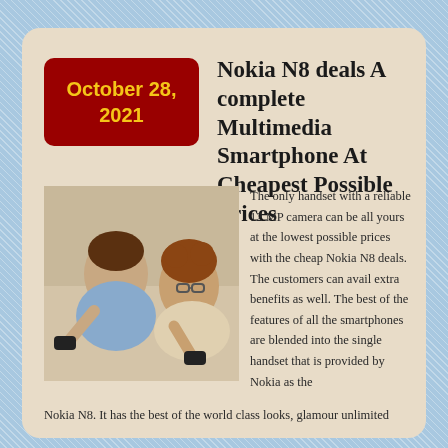October 28, 2021
Nokia N8 deals A complete Multimedia Smartphone At Cheapest Possible Prices
[Figure (photo): Two people lying on a floor playing video games with controllers]
The only handset with a reliable 12 MP camera can be all yours at the lowest possible prices with the cheap Nokia N8 deals. The customers can avail extra benefits as well. The best of the features of all the smartphones are blended into the single handset that is provided by Nokia as the
Nokia N8. It has the best of the world class looks, glamour unlimited